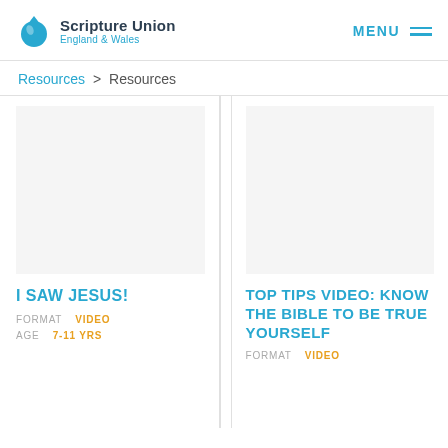[Figure (logo): Scripture Union England & Wales logo with blue water drop icon]
MENU
Resources > Resources
[Figure (photo): Card image placeholder for I SAW JESUS! resource]
I SAW JESUS!
FORMAT  VIDEO
AGE  7-11 YRS
[Figure (photo): Card image placeholder for TOP TIPS VIDEO: KNOW THE BIBLE TO BE TRUE YOURSELF resource]
TOP TIPS VIDEO: KNOW THE BIBLE TO BE TRUE YOURSELF
FORMAT  VIDEO